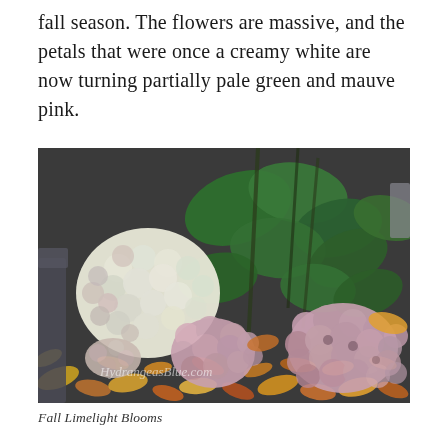fall season. The flowers are massive, and the petals that were once a creamy white are now turning partially pale green and mauve pink.
[Figure (photo): Photograph of Limelight hydrangea blooms in fall, showing large flower clusters with creamy white, pale green, and mauve pink petals surrounded by green leaves and fallen autumn leaves in shades of yellow, orange, and brown. A watermark reads 'HydrangeasBlue.com'.]
Fall Limelight Blooms